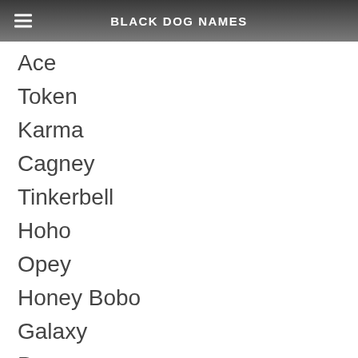BLACK DOG NAMES
Ace
Token
Karma
Cagney
Tinkerbell
Hoho
Opey
Honey Bobo
Galaxy
Panama